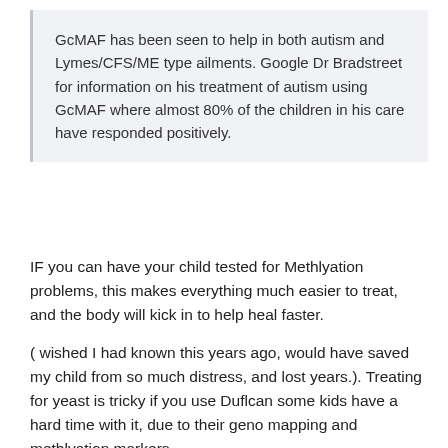GcMAF has been seen to help in both autism and Lymes/CFS/ME type ailments. Google Dr Bradstreet for information on his treatment of autism using GcMAF where almost 80% of the children in his care have responded positively.
IF you can have your child tested for Methlyation problems, this makes everything much easier to treat, and the body will kick in to help heal faster.
( wished I had known this years ago, would have saved my child from so much distress, and lost years.). Treating for yeast is tricky if you use Duflcan some kids have a hard time with it, due to their geno mapping and methlyation markers.
Here is a list to help you find someone in your state, or close to you.